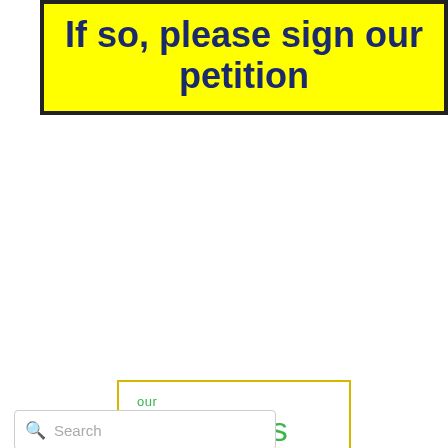[Figure (infographic): Yellow banner with dark blue bold text reading 'If so, please sign our petition' inside a black border]
[Figure (logo): Box with yellow border containing green text 'our Sponsors']
[Figure (infographic): Green button/banner with yellow text 'See our upcoming EVENTS']
[Figure (infographic): Row of four social media icons: Facebook (blue), Twitter (blue), YouTube (red), Instagram (gradient)]
[Figure (screenshot): Search input box with magnifying glass icon and placeholder text 'Search']